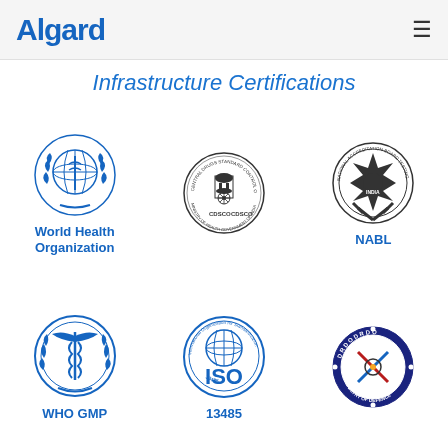Algard
Infrastructure Certifications
[Figure (logo): World Health Organization circular logo with globe and serpent staff emblem in blue]
World Health Organization
[Figure (logo): CDSCO Central Drugs Standard Control Organization circular seal with Indian emblem]
[Figure (logo): NABL National Accreditation Board for Testing and Calibration Laboratories circular logo with star emblem]
NABL
[Figure (logo): WHO GMP circular logo with caduceus and olive branches in blue]
WHO GMP
[Figure (logo): ISO International Organization for Standardization circular logo with globe, text ISO 13485]
13485
[Figure (logo): DRDO Defence Research and Development Organisation circular blue logo with Indian emblem]